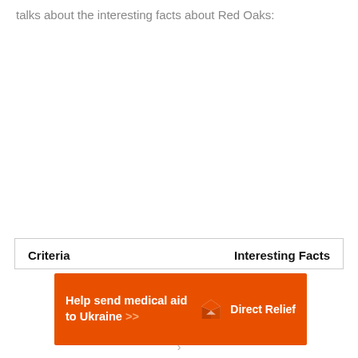talks about the interesting facts about Red Oaks:
| Criteria | Interesting Facts |
| --- | --- |
[Figure (infographic): Orange advertisement banner for Direct Relief: 'Help send medical aid to Ukraine >>' with Direct Relief logo on the right]
›